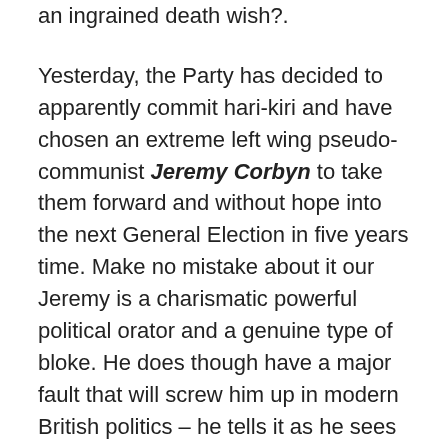an ingrained death wish?.
Yesterday, the Party has decided to apparently commit hari-kiri and have chosen an extreme left wing pseudo-communist Jeremy Corbyn to take them forward and without hope into the next General Election in five years time. Make no mistake about it our Jeremy is a charismatic powerful political orator and a genuine type of bloke. He does though have a major fault that will screw him up in modern British politics – he tells it as he sees it and with honesty. Oh yes, he also has some strange opinions but at least we all know what they are, unlike the rest of the big boy bunch in politics these days – whose opinions are decided solely by focus groups.
During this summer's campaign, Corbyn's policies have been widely rubbished by the others, by senior Labour figures and comments here about how the media...